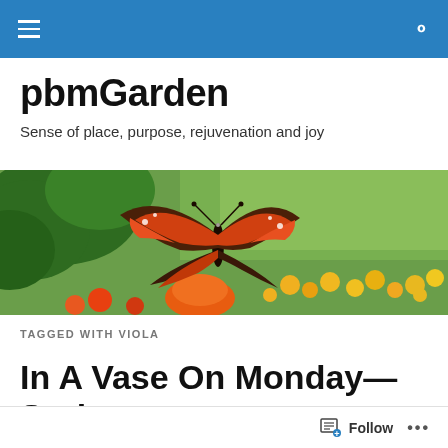pbmGarden navigation bar with hamburger menu and search icon
pbmGarden
Sense of place, purpose, rejuvenation and joy
[Figure (photo): A red admiral butterfly with open wings perched on an orange marigold flower, with green foliage and a field of yellow and orange flowers in the background.]
TAGGED WITH VIOLA
In A Vase On Monday—Spring Pansies
Follow ...